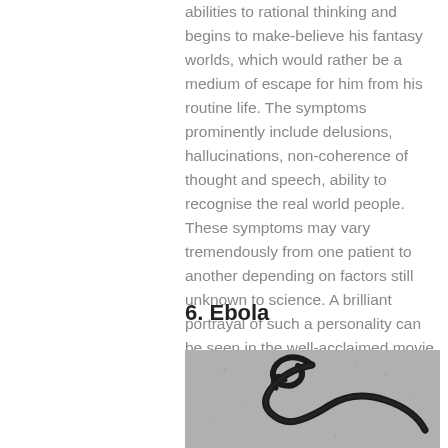abilities to rational thinking and begins to make-believe his fantasy worlds, which would rather be a medium of escape for him from his routine life. The symptoms prominently include delusions, hallucinations, non-coherence of thought and speech, ability to recognise the real world people. These symptoms may vary tremendously from one patient to another depending on factors still unknown to science. A brilliant portrayal of such a personality can be seen in the well-acclaimed movie, A Beautiful Mind.
6. Ebola
[Figure (photo): Black and white electron microscope image of the Ebola virus, showing its characteristic filamentous snake-like shape against a grainy grey background.]